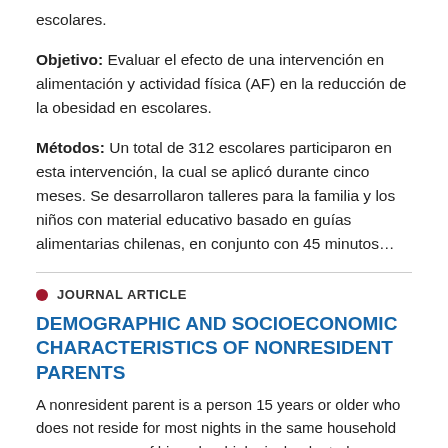escolares.
Objetivo: Evaluar el efecto de una intervención en alimentación y actividad física (AF) en la reducción de la obesidad en escolares.
Métodos: Un total de 312 escolares participaron en esta intervención, la cual se aplicó durante cinco meses. Se desarrollaron talleres para la familia y los niños con material educativo basado en guías alimentarias chilenas, en conjunto con 45 minutos…
JOURNAL ARTICLE
DEMOGRAPHIC AND SOCIOECONOMIC CHARACTERISTICS OF NONRESIDENT PARENTS
A nonresident parent is a person 15 years or older who does not reside for most nights in the same household as one or more of his or her biological, adopted, or stepchildren under age 21. Research finds that many nonresident parents and their children are economically vulnerable, and government